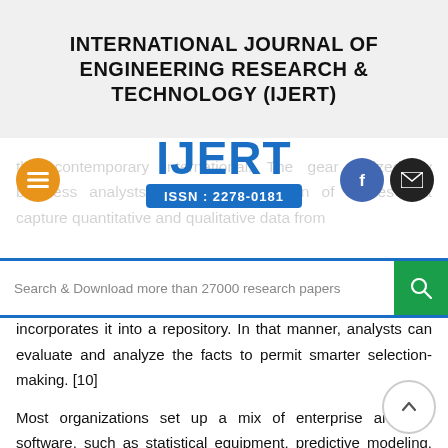INTERNATIONAL JOURNAL OF ENGINEERING RESEARCH & TECHNOLOGY (IJERT)
[Figure (logo): IJERT logo with text IJERT and ISSN : 2278-0181 in blue]
this contemporary international. The gear utilized by business analysts includes a selection of utilities that capture quantitative and qualitative data from
Search & Download more than 27000 research papers
incorporates it into a repository. In that manner, analysts can evaluate and analyze the facts to permit smarter selection-making. [10]
Most organizations set up a mix of enterprise analytics software, such as statistical equipment, predictive modeling, and information mining gear. Those software program packages for enterprise analytics